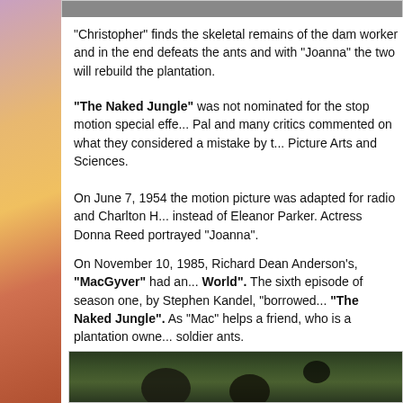[Figure (photo): Top partial image strip showing dark background content]
"Christopher" finds the skeletal remains of the dam worker and in the end defeats the ants and with "Joanna" the two will rebuild the plantation.
"The Naked Jungle" was not nominated for the stop motion special effe... Pal and many critics commented on what they considered a mistake by the... Picture Arts and Sciences.
On June 7, 1954 the motion picture was adapted for radio and Charlton H... instead of Eleanor Parker. Actress Donna Reed portrayed "Joanna".
On November 10, 1985, Richard Dean Anderson's, "MacGyver" had an... World". The sixth episode of season one, by Stephen Kandel, "borrowed... "The Naked Jungle". As "Mac" helps a friend, who is a plantation owne... soldier ants.
[Figure (photo): Dark image showing what appears to be ants or insects in a jungle/forest setting with green moss and dark shapes]